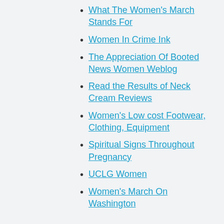What The Women's March Stands For
Women In Crime Ink
The Appreciation Of Booted News Women Weblog
Read the Results of Neck Cream Reviews
Women's Low cost Footwear, Clothing, Equipment
Spiritual Signs Throughout Pregnancy
UCLG Women
Women's March On Washington